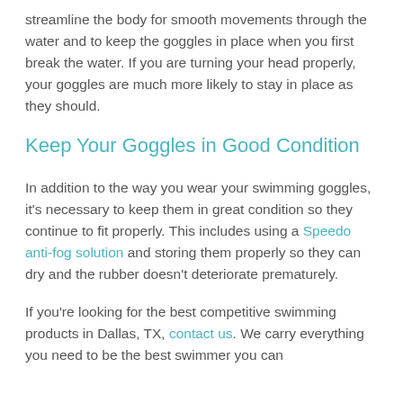streamline the body for smooth movements through the water and to keep the goggles in place when you first break the water. If you are turning your head properly, your goggles are much more likely to stay in place as they should.
Keep Your Goggles in Good Condition
In addition to the way you wear your swimming goggles, it's necessary to keep them in great condition so they continue to fit properly. This includes using a Speedo anti-fog solution and storing them properly so they can dry and the rubber doesn't deteriorate prematurely.
If you're looking for the best competitive swimming products in Dallas, TX, contact us. We carry everything you need to be the best swimmer you can